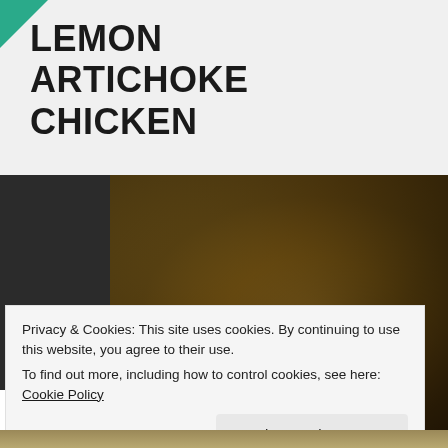LEMON ARTICHOKE CHICKEN
[Figure (photo): Photo of lemon artichoke chicken dish served on a decorative plate with artichoke hearts and sauce over grains]
Privacy & Cookies: This site uses cookies. By continuing to use this website, you agree to their use.
To find out more, including how to control cookies, see here: Cookie Policy
Close and accept